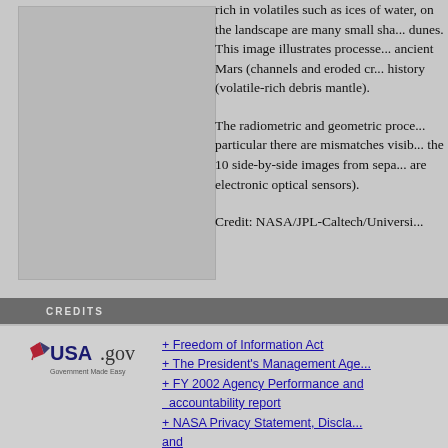[Figure (photo): Gray placeholder rectangle representing a Mars landscape image]
rich in volatiles such as ices of water, on the landscape are many small sha... dunes. This image illustrates processe... ancient Mars (channels and eroded cr... history (volatile-rich debris mantle).
The radiometric and geometric proce... particular there are mismatches visib... the 10 side-by-side images from sepa... are electronic optical sensors).
Credit: NASA/JPL-Caltech/Universi...
CREDITS
[Figure (logo): USA.gov - Government Made Easy logo]
+ Freedom of Information Act
+ The President's Management Age...
+ FY 2002 Agency Performance and accountability report
+ NASA Privacy Statement, Discla... and Accessiblity Certification